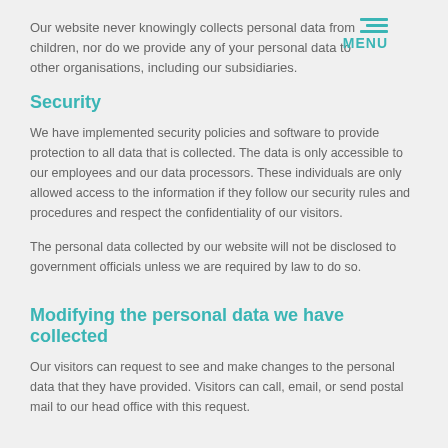Our website never knowingly collects personal data from children, nor do we provide any of your personal data to other organisations, including our subsidiaries.
Security
We have implemented security policies and software to provide protection to all data that is collected. The data is only accessible to our employees and our data processors. These individuals are only allowed access to the information if they follow our security rules and procedures and respect the confidentiality of our visitors.
The personal data collected by our website will not be disclosed to government officials unless we are required by law to do so.
Modifying the personal data we have collected
Our visitors can request to see and make changes to the personal data that they have provided. Visitors can call, email, or send postal mail to our head office with this request.